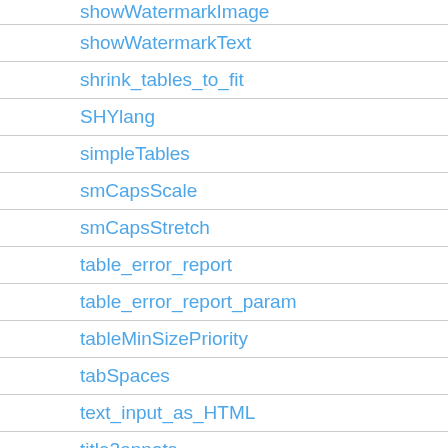showWatermarkImage
showWatermarkText
shrink_tables_to_fit
SHYlang
simpleTables
smCapsScale
smCapsStretch
table_error_report
table_error_report_param
tableMinSizePriority
tabSpaces
text_input_as_HTML
title2annots
use_kwt
useAdobeCJK
useDictionaryLBR
useFixedNormalLineHeight
useFixedTextBaseline